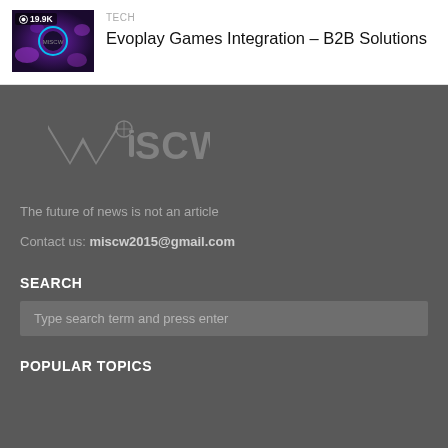[Figure (screenshot): Thumbnail image of a game or tech article with a view count badge showing 19.9K]
TECH
Evoplay Games Integration – B2B Solutions
[Figure (logo): MISCW logo in gray on dark background]
The future of news is not an article
Contact us: miscw2015@gmail.com
SEARCH
Type search term and press enter
POPULAR TOPICS